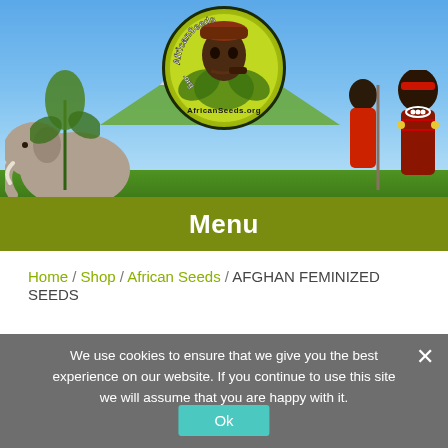[Figure (illustration): African Seeds website header banner featuring a logo with an African man smoking a pipe surrounded by cannabis leaves in a circle, with African landscape background including an elephant on the left, Maasai warriors on the right, mountains/Kilimanjaro in the background, and tropical vegetation.]
Menu
Home / Shop / African Seeds / AFGHAN FEMINIZED SEEDS
We use cookies to ensure that we give you the best experience on our website. If you continue to use this site we will assume that you are happy with it.